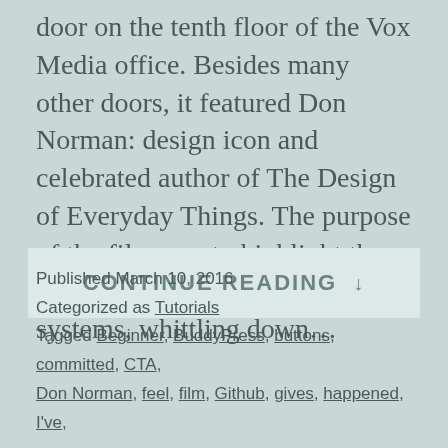door on the tenth floor of the Vox Media office. Besides many other doors, it featured Don Norman: design icon and celebrated author of The Design of Everyday Things. The purpose of the film was to highlight the usability of products and systems, whittling down…
CONTINUE READING ↓
Published March 10, 2016
Categorized as Tutorials
Tagged Beginner, BuddyPress, buttons, committed, CTA, Don Norman, feel, film, Github, gives, happened, I've,